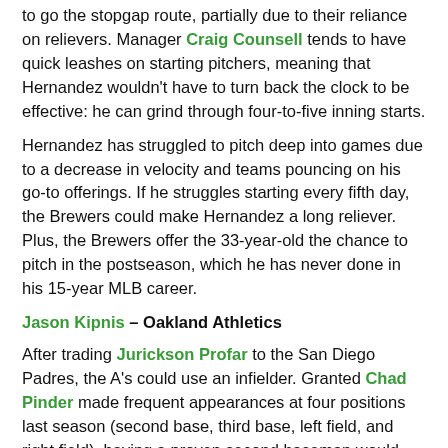to go the stopgap route, partially due to their reliance on relievers. Manager Craig Counsell tends to have quick leashes on starting pitchers, meaning that Hernandez wouldn't have to turn back the clock to be effective: he can grind through four-to-five inning starts.
Hernandez has struggled to pitch deep into games due to a decrease in velocity and teams pouncing on his go-to offerings. If he struggles starting every fifth day, the Brewers could make Hernandez a long reliever. Plus, the Brewers offer the 33-year-old the chance to pitch in the postseason, which he has never done in his 15-year MLB career.
Jason Kipnis – Oakland Athletics
After trading Jurickson Profar to the San Diego Padres, the A's could use an infielder. Granted Chad Pinder made frequent appearances at four positions last season (second base, third base, left field, and right field), having a proven second baseman would benefit manager Bob Melvin's ballclub.
Kipnis is a proven power hitter; he has accrued 35 home runs and 140 RBIs over the last two seasons. Meanwhile, he's a stellar